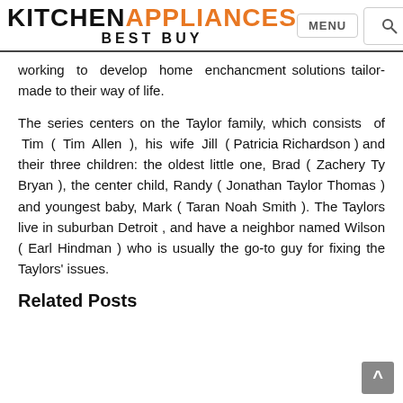KITCHEN APPLIANCES BEST BUY
working to develop home enchancment solutions tailor-made to their way of life.
The series centers on the Taylor family, which consists of Tim ( Tim Allen ), his wife Jill ( Patricia Richardson ) and their three children: the oldest little one, Brad ( Zachery Ty Bryan ), the center child, Randy ( Jonathan Taylor Thomas ) and youngest baby, Mark ( Taran Noah Smith ). The Taylors live in suburban Detroit , and have a neighbor named Wilson ( Earl Hindman ) who is usually the go-to guy for fixing the Taylors' issues.
Related Posts